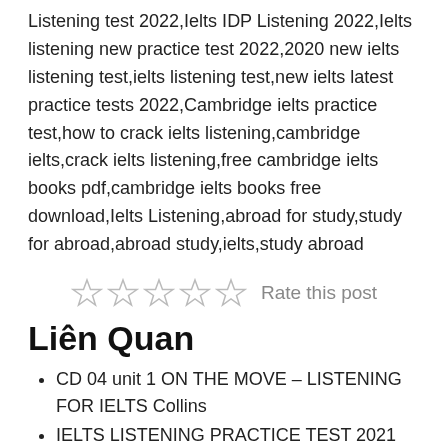Listening test 2022,Ielts IDP Listening 2022,Ielts listening new practice test 2022,2020 new ielts listening test,ielts listening test,new ielts latest practice tests 2022,Cambridge ielts practice test,how to crack ielts listening,cambridge ielts,crack ielts listening,free cambridge ielts books pdf,cambridge ielts books free download,Ielts Listening,abroad for study,study for abroad,abroad study,ielts,study abroad
[Figure (other): Five empty star rating icons with 'Rate this post' label]
Liên Quan
CD 04 unit 1 ON THE MOVE – LISTENING FOR IELTS Collins
IELTS LISTENING PRACTICE TEST 2021 WITH ANSWERS | 27.11.2021
Bài mẫu IELTS Speaking Band 8 của Mr Duy Pham |